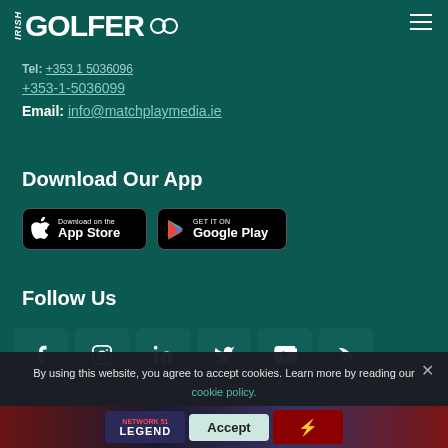IRISH GOLFER
Tel: +353-1-5036096
+353-1-5036099
Email: info@matchplaymedia.ie
Download Our App
[Figure (logo): App Store and Google Play download badges]
Follow Us
[Figure (infographic): Social media icons: Facebook, Instagram, LinkedIn, Twitter, YouTube, RSS]
By using this website, you agree to accept cookies. Learn more by reading our cookie policy.